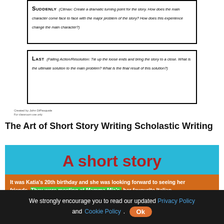SUDDENLY (Climax: Create a dramatic turning point for the story. How does the main character come face to face with the major problem of the story? How does this experience change the main character?)
LAST (Falling Action/Resolution: Tie up the loose ends and bring the story to a close. What is the ultimate solution to the main problem? What is the final result of this solution?)
Created by John DiPasquale
The Art of Short Story Writing Scholastic Writing
[Figure (illustration): A short story educational image with cyan background showing bold red title 'A short story' and orange text body beginning: 'It was Katia's 20th birthday and she was looking forward to seeing her friends. They were meeting at Mamma Mia's, her favourite Italian']
We strongly encourage you to read our updated Privacy Policy and Cookie Policy. Ok